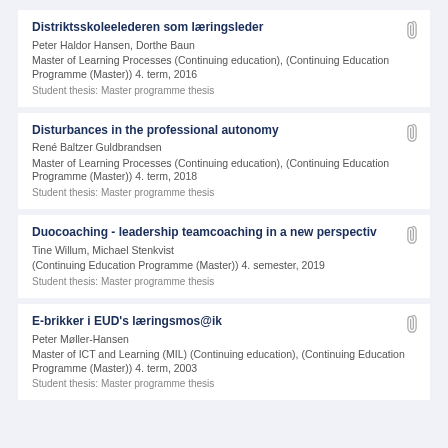Distriktsskoleelederen som læringsleder
Peter Haldor Hansen, Dorthe Baun
Master of Learning Processes (Continuing education), (Continuing Education Programme (Master)) 4. term, 2016
Student thesis: Master programme thesis
Disturbances in the professional autonomy
René Baltzer Guldbrandsen
Master of Learning Processes (Continuing education), (Continuing Education Programme (Master)) 4. term, 2018
Student thesis: Master programme thesis
Duocoaching - leadership teamcoaching in a new perspectiv
Tine Willum, Michael Stenkvist
(Continuing Education Programme (Master)) 4. semester, 2019
Student thesis: Master programme thesis
E-brikker i EUD's læringsmos@ik
Peter Møller-Hansen
Master of ICT and Learning (MIL) (Continuing education), (Continuing Education Programme (Master)) 4. term, 2003
Student thesis: Master programme thesis